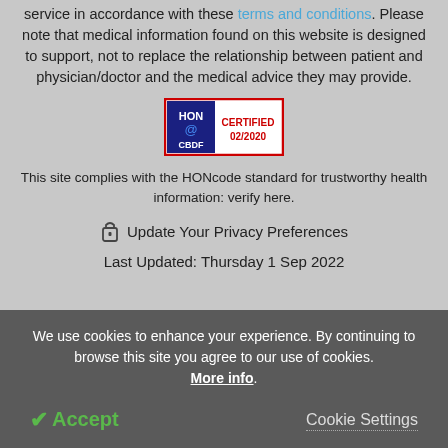service in accordance with these terms and conditions. Please note that medical information found on this website is designed to support, not to replace the relationship between patient and physician/doctor and the medical advice they may provide.
[Figure (logo): HON CBDF Certified 02/2020 badge with red border]
This site complies with the HONcode standard for trustworthy health information: verify here.
Update Your Privacy Preferences
Last Updated: Thursday 1 Sep 2022
We use cookies to enhance your experience. By continuing to browse this site you agree to our use of cookies. More info.
Accept
Cookie Settings